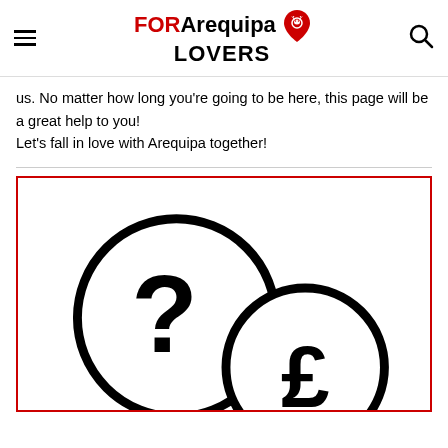FOR Arequipa LOVERS
us. No matter how long you're going to be here, this page will be a great help to you!
Let's fall in love with Arequipa together!
[Figure (illustration): Two overlapping speech bubble circles, one containing a question mark and the other containing a currency symbol, drawn in black outline style on white background, inside a red-bordered box.]